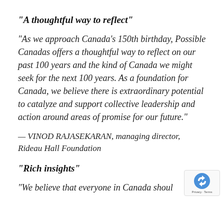“A thoughtful way to reflect”
“As we approach Canada’s 150th birthday, Possible Canadas offers a thoughtful way to reflect on our past 100 years and the kind of Canada we might seek for the next 100 years. As a foundation for Canada, we believe there is extraordinary potential to catalyze and support collective leadership and action around areas of promise for our future.”
— VINOD RAJASEKARAN, managing director, Rideau Hall Foundation
“Rich insights”
“We believe that everyone in Canada shoul